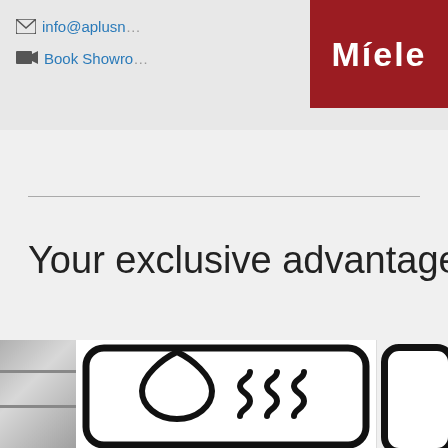info@aplusn... | Book Showro...
[Figure (logo): Miele logo — white bold text 'Miele' on dark red/crimson background]
Your exclusive advantages
[Figure (illustration): Moisture plus icon: rounded rectangle outline containing a water drop shape and three wavy steam lines (SSS)]
Moisture plus
As if fresh from the bakery: moisture